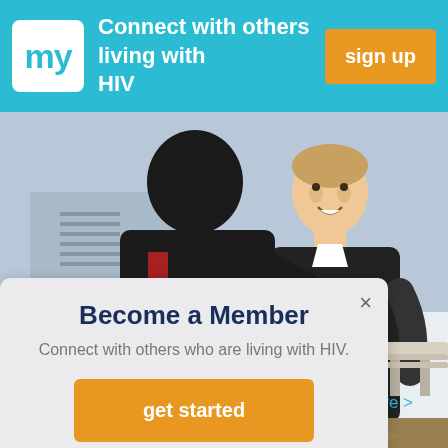Connect with others living with HIV
[Figure (photo): Two men sitting outdoors in winter, one in a black jacket gesturing while talking to another man in a black jacket with a blue tie, snowy background]
Become a Member
Connect with others who are living with HIV.
get started
ad more >
[Figure (photo): Abstract warm golden gradient background, lower portion of page]